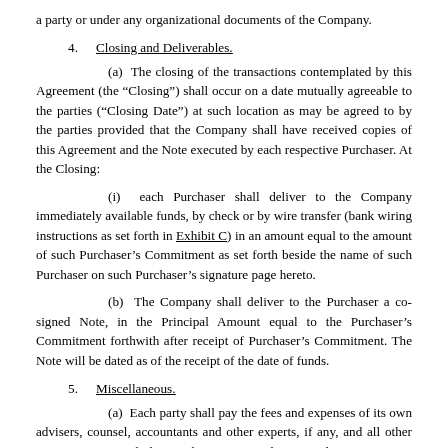a party or under any organizational documents of the Company.
4.    Closing and Deliverables.
(a) The closing of the transactions contemplated by this Agreement (the “Closing”) shall occur on a date mutually agreeable to the parties (“Closing Date”) at such location as may be agreed to by the parties provided that the Company shall have received copies of this Agreement and the Note executed by each respective Purchaser. At the Closing:
(i) each Purchaser shall deliver to the Company immediately available funds, by check or by wire transfer (bank wiring instructions as set forth in Exhibit C) in an amount equal to the amount of such Purchaser’s Commitment as set forth beside the name of such Purchaser on such Purchaser’s signature page hereto.
(b) The Company shall deliver to the Purchaser a co-signed Note, in the Principal Amount equal to the Purchaser’s Commitment forthwith after receipt of Purchaser’s Commitment. The Note will be dated as of the receipt of the date of funds.
5.    Miscellaneous.
(a) Each party shall pay the fees and expenses of its own advisers, counsel, accountants and other experts, if any, and all other expenses incurred by such party incident to the negotiation, preparation, execution, delivery and performance of the Transactions Documents.